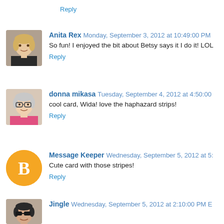Reply
Anita Rex  Monday, September 3, 2012 at 10:49:00 PM
So fun! I enjoyed the bit about Betsy says it I do it! LOL
Reply
donna mikasa  Tuesday, September 4, 2012 at 4:50:00
cool card, Wida! love the haphazard strips!
Reply
Message Keeper  Wednesday, September 5, 2012 at 5:
Cute card with those stripes!
Reply
Jingle  Wednesday, September 5, 2012 at 2:10:00 PM E